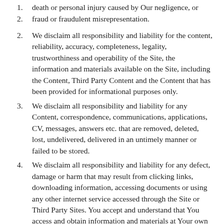1. death or personal injury caused by Our negligence, or
2. fraud or fraudulent misrepresentation.
2. We disclaim all responsibility and liability for the content, reliability, accuracy, completeness, legality, trustworthiness and operability of the Site, the information and materials available on the Site, including the Content, Third Party Content and the Content that has been provided for informational purposes only.
3. We disclaim all responsibility and liability for any Content, correspondence, communications, applications, CV, messages, answers etc. that are removed, deleted, lost, undelivered, delivered in an untimely manner or failed to be stored.
4. We disclaim all responsibility and liability for any defect, damage or harm that may result from clicking links, downloading information, accessing documents or using any other internet service accessed through the Site or Third Party Sites. You accept and understand that You access and obtain information and materials at Your own risk.
5. We will not be liable to You for any loss or damage,